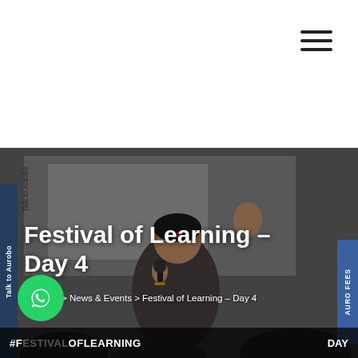Festival of Learning – Day 4
Home > News & Events > Festival of Learning – Day 4
[Figure (photo): A woman speaking at a microphone with one hand raised, in a seminar or conference setting. A presentation screen is visible in the background with text 'Talk to Aurobo' partially visible.]
#FESTIVALOFLEARNING   DAY